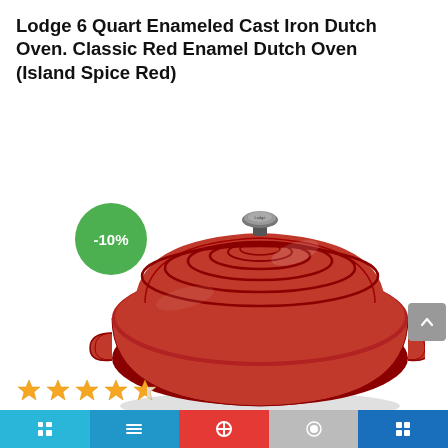Lodge 6 Quart Enameled Cast Iron Dutch Oven. Classic Red Enamel Dutch Oven (Island Spice Red)
[Figure (photo): Red enameled cast iron Dutch oven with lid, showing concentric ring pattern on top, two handles, and a silver knob on the lid. A green circular badge with '-10%' text overlays the upper left of the product image.]
[Figure (other): Star rating display showing approximately 4.5 out of 5 stars in gold/amber color]
Navigation bar with social/share icons at the bottom of the page